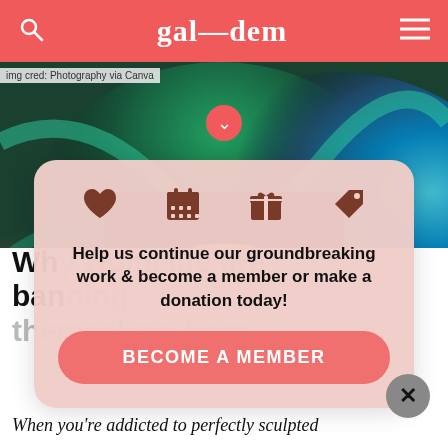gal—dem
img cred: Photography via Canva
[Figure (photo): Colorful abstract neon background with green, teal, blue and orange swirls, with a dark inset card showing a glowing floral image]
Help us continue our groundbreaking work & become a member or make a donation today!
BECOME A MEMBER
Why women are banning themselves from
When you're addicted to perfectly sculpted